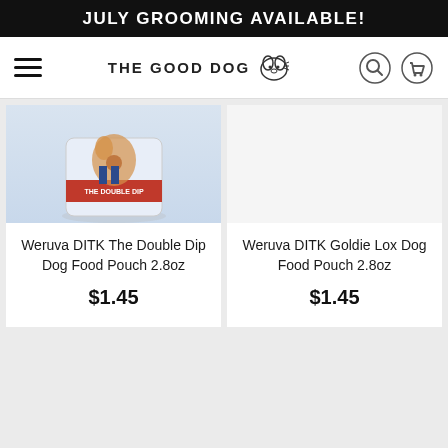JULY GROOMING AVAILABLE!
[Figure (logo): The Good Dog logo with hamburger menu, search icon, and cart icon in navigation bar]
[Figure (photo): Weruva DITK The Double Dip Dog Food Pouch product image]
Weruva DITK The Double Dip Dog Food Pouch 2.8oz
$1.45
Weruva DITK Goldie Lox Dog Food Pouch 2.8oz
$1.45